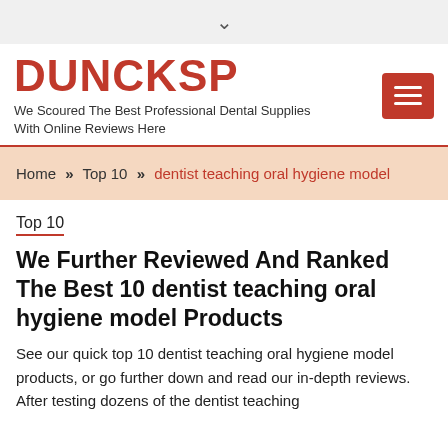↓
DUNCKSP
We Scoured The Best Professional Dental Supplies With Online Reviews Here
Home » Top 10 » dentist teaching oral hygiene model
Top 10
We Further Reviewed And Ranked The Best 10 dentist teaching oral hygiene model Products
See our quick top 10 dentist teaching oral hygiene model products, or go further down and read our in-depth reviews. After testing dozens of the dentist teaching